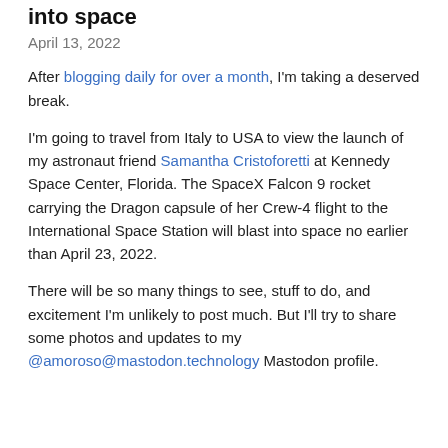into space
April 13, 2022
After blogging daily for over a month, I'm taking a deserved break.
I'm going to travel from Italy to USA to view the launch of my astronaut friend Samantha Cristoforetti at Kennedy Space Center, Florida. The SpaceX Falcon 9 rocket carrying the Dragon capsule of her Crew-4 flight to the International Space Station will blast into space no earlier than April 23, 2022.
There will be so many things to see, stuff to do, and excitement I'm unlikely to post much. But I'll try to share some photos and updates to my @amoroso@mastodon.technology Mastodon profile.